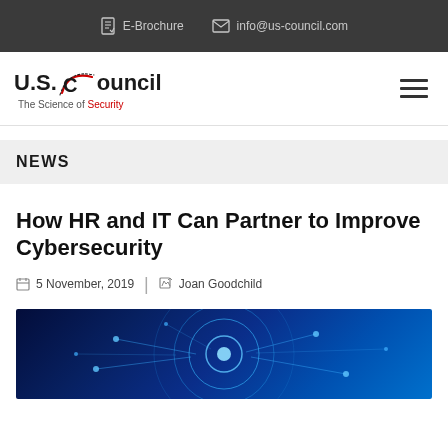E-Brochure  info@us-council.com
[Figure (logo): U.S. Council - The Science of Security logo]
NEWS
How HR and IT Can Partner to Improve Cybersecurity
5 November, 2019  |  Joan Goodchild
[Figure (photo): Cybersecurity technology abstract blue background with circular digital patterns and network nodes]